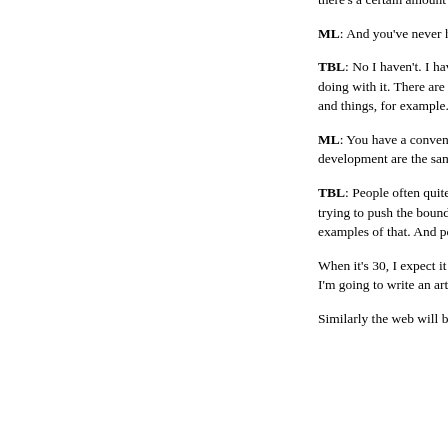there's a certain amount of danger that this tool can be used for bad purposes. It's a very powerful tool.
ML: And you've never had a sleepless night over that?
TBL: No I haven't. I haven't had a sleepless night over it because I suppose I'm so much more surrounded by the good things that people are doing with it. There are lots of positive stories of people doing things, putting educational information out there for people in other countries and things, for example. There's a huge spirit of goodwill. Most of the people I meet who are developing the web are doing all those things.
ML: You have a convenient benchmark, because you have a daughter who was born just as the web was beginning. Her stages of development are the same as the web in years. So, what would you say, what would you want the web at 30 to be?
TBL: People often quite successfully compare the web to a growing person, and it's certainly had its years of adolescence with people trying to push the boundaries, see how far we can go, and a lot of these things, with spam and phishing that we see at the moment are examples of that. And people have been pushing backwards and forwards about piracy, and I think a lot of those things will settle.
When it's 30, I expect it to be much more stable, something you don't talk about. Really when you talk about an article, you don't say "Oh, I'm going to write an article on paper!" The fact that you use paper is sort of rather understood.
Similarly the web will be, hopefully, will be something w...